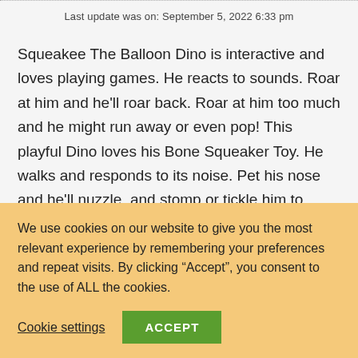Last update was on: September 5, 2022 6:33 pm
Squeakee The Balloon Dino is interactive and loves playing games. He reacts to sounds. Roar at him and he'll roar back. Roar at him too much and he might run away or even pop! This playful Dino loves his Bone Squeaker Toy. He walks and responds to its noise. Pet his nose and he'll nuzzle, and stomp or tickle him to make him laugh hysterically.
We use cookies on our website to give you the most relevant experience by remembering your preferences and repeat visits. By clicking “Accept”, you consent to the use of ALL the cookies.
Cookie settings   ACCEPT